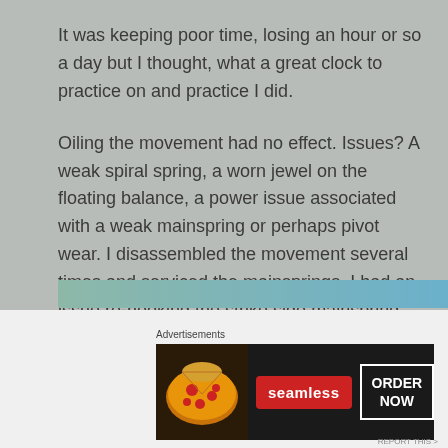It was keeping poor time, losing an hour or so a day but I thought, what a great clock to practice on and practice I did.
Oiling the movement had no effect. Issues? A weak spiral spring, a worn jewel on the floating balance, a power issue associated with a weak mainspring or perhaps pivot wear. I disassembled the movement several times and serviced the mainsprings. I had an issue re-hooking the strike side mainspring and so, discouraged, I put it aside.
[Figure (other): Teal to blue gradient bar]
Advertisements
[Figure (other): Seamless food delivery advertisement banner with pizza image, Seamless logo, and ORDER NOW button]